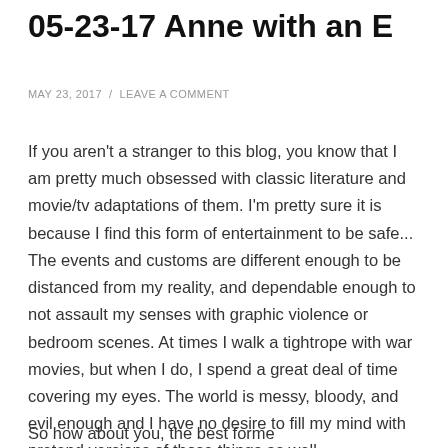05-23-17 Anne with an E
MAY 23, 2017 / LEAVE A COMMENT
If you aren't a stranger to this blog, you know that I am pretty much obsessed with classic literature and movie/tv adaptations of them. I'm pretty sure it is because I find this form of entertainment to be safe... The events and customs are different enough to be distanced from my reality, and dependable enough to not assault my senses with graphic violence or bedroom scenes. At times I walk a tightrope with war movies, but when I do, I spend a great deal of time covering my eyes. The world is messy, bloody, and evil enough and I have no desire to fill my mind with pretend versions of those things as well.
So how about you, the bestformen, the conversing...